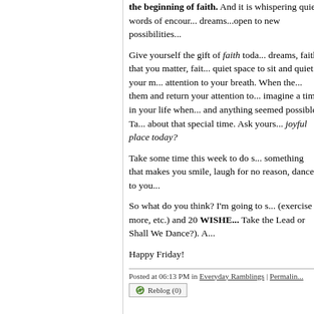the beginning of faith. And it is whispering quiet words of encour... dreams...open to new possibilities...
Give yourself the gift of faith toda... dreams, faith that you matter, fait... quiet space to sit and quiet your m... attention to your breath. When the... them and return your attention to... imagine a time in your life when... and anything seemed possible. Ta... about that special time. Ask yours... joyful place today?
Take some time this week to do s... something that makes you smile, ... laugh for no reason, dance to you...
So what do you think? I'm going to s... (exercise more, etc.) and 20 WISHES... Take the Lead or Shall We Dance?). A...
Happy Friday!
Posted at 06:13 PM in Everyday Ramblings | Permalink